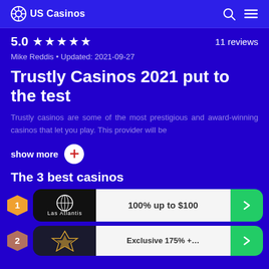US Casinos
5.0 ★★★★★   11 reviews
Mike Reddis • Updated: 2021-09-27
Trustly Casinos 2021 put to the test
Trustly casinos are some of the most prestigious and award-winning casinos that let you play. This provider will be
show more
The 3 best casinos
1  Las Atlantis  100% up to $100
2  (partial card visible)